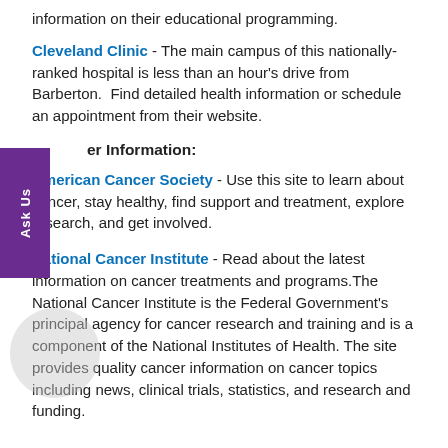information on their educational programming.
Cleveland Clinic - The main campus of this nationally-ranked hospital is less than an hour's drive from Barberton. Find detailed health information or schedule an appointment from their website.
er Information:
American Cancer Society - Use this site to learn about cancer, stay healthy, find support and treatment, explore research, and get involved.
National Cancer Institute - Read about the latest information on cancer treatments and programs. The National Cancer Institute is the Federal Government's principal agency for cancer research and training and is a component of the National Institutes of Health. The site provides quality cancer information on cancer topics including news, clinical trials, statistics, and research and funding.